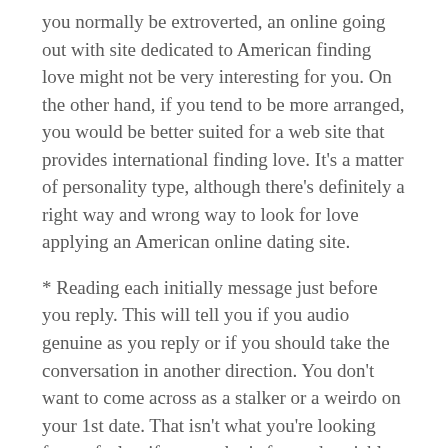you normally be extroverted, an online going out with site dedicated to American finding love might not be very interesting for you. On the other hand, if you tend to be more arranged, you would be better suited for a web site that provides international finding love. It's a matter of personality type, although there's definitely a right way and wrong way to look for love applying an American online dating site.
* Reading each initially message just before you reply. This will tell you if you audio genuine as you reply or if you should take the conversation in another direction. You don't want to come across as a stalker or a weirdo on your 1st date. That isn't what you're looking for, so feel as if a guy who is fun and sociable and the woman will feel like this woman is actually special.
* Discover ways to read body gestures. Many women get